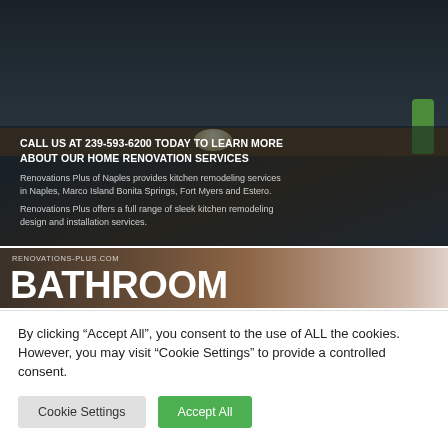[Figure (photo): Kitchen remodeling photo showing dark cabinetry, countertops, a glowing spherical lamp, and a green cactus decoration with overlay text promoting kitchen remodeling services]
CALL US AT 239-593-6200 TODAY TO LEARN MORE ABOUT OUR HOME RENOVATION SERVICES
Renovations Plus of Naples provides kitchen remodeling services in Naples, Marco Island Bonita Springs, Fort Myers and Estero.
Renovations Plus offers a full range of sleek kitchen remodeling design and installation services.
[Figure (photo): Bathroom banner image showing wood-grain cabinetry with RENOVATIONS-PLUS.COM URL and large BATHROOM text]
By clicking “Accept All”, you consent to the use of ALL the cookies. However, you may visit "Cookie Settings" to provide a controlled consent.
Cookie Settings
Accept All